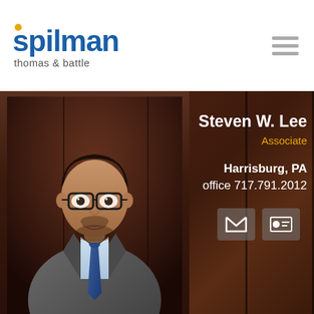[Figure (logo): Spilman Thomas & Battle law firm logo — blue 'spilman' wordmark with yellow dot, grey 'thomas & battle' subtext]
[Figure (other): Hamburger menu icon — three grey horizontal bars]
[Figure (photo): Professional headshot of Steven W. Lee, a young man wearing glasses, a grey suit and blue tie, posed against a dark wood-paneled background]
Steven W. Lee
Associate
Harrisburg, PA
office 717.791.2012
[Figure (other): Email icon button (envelope) and vCard/contact icon button]